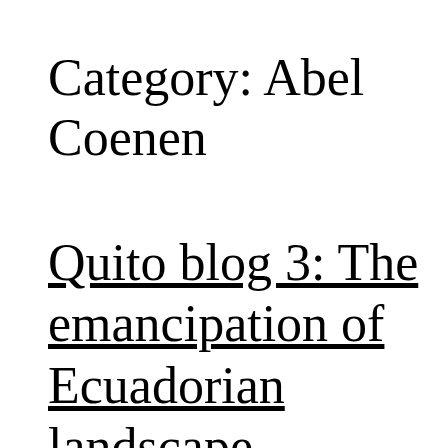Category: Abel Coenen
Quito blog 3: The emancipation of Ecuadorian landscape architecture